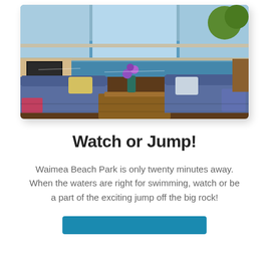[Figure (photo): Interior photo of a beach house living room with blue sofas, a wooden coffee table with purple orchids, and large windows showing a view of the ocean and blue sky. A television is mounted on the left wall.]
Watch or Jump!
Waimea Beach Park is only twenty minutes away. When the waters are right for swimming, watch or be a part of the exciting jump off the big rock!